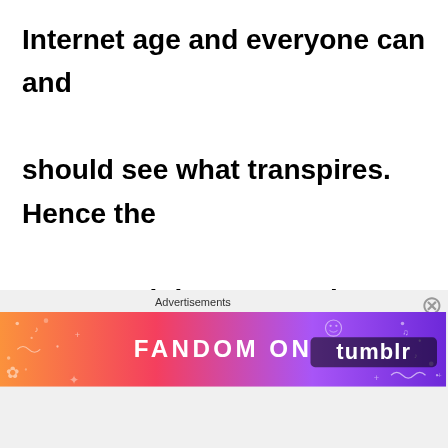Internet age and everyone can and should see what transpires.  Hence the current Minister, a previous Minister, and current senior Forest officials are also tagged by email, and the whole document is public for the world to
Advertisements
[Figure (illustration): Fandom on Tumblr advertisement banner with colorful gradient background (orange to purple) and decorative elements]